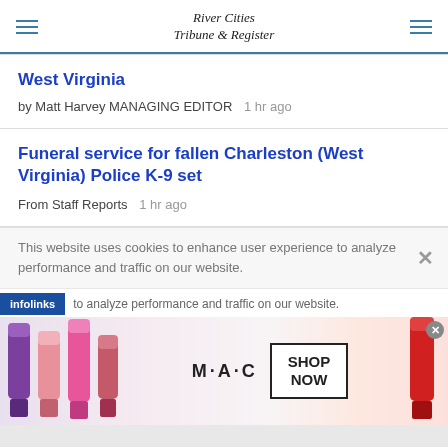River Cities Tribune & Register
West Virginia
by Matt Harvey MANAGING EDITOR  1 hr ago
Funeral service for fallen Charleston (West Virginia) Police K-9 set
From Staff Reports  1 hr ago
This website uses cookies to enhance user experience to analyze performance and traffic on our website.
[Figure (infographic): MAC Cosmetics advertisement banner with lipstick products and SHOP NOW button]